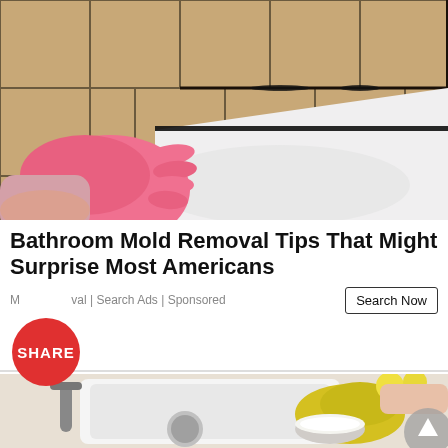[Figure (photo): Person wearing pink rubber gloves pointing at black mold on bathroom tile grout line near white bathtub]
Bathroom Mold Removal Tips That Might Surprise Most Americans
Mold Removal | Search Ads | Sponsored
[Figure (photo): Person wearing yellow rubber gloves cleaning a white kitchen or bathroom sink with baking soda, faucet visible, lemon slices in background, circular upward arrow button overlay in bottom right]
SHARE